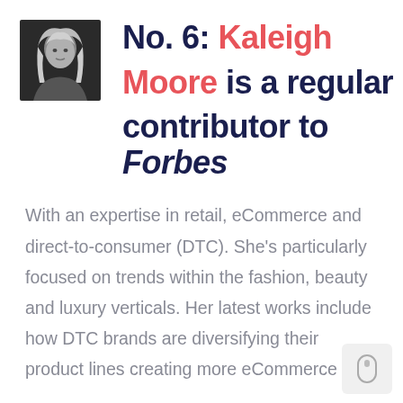[Figure (photo): Black and white portrait photo of Kaleigh Moore]
No. 6: Kaleigh Moore is a regular contributor to Forbes
With an expertise in retail, eCommerce and direct-to-consumer (DTC). She's particularly focused on trends within the fashion, beauty and luxury verticals. Her latest works include how DTC brands are diversifying their product lines creating more eCommerce